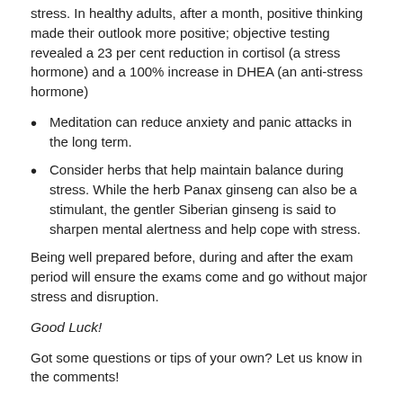stress. In healthy adults, after a month, positive thinking made their outlook more positive; objective testing revealed a 23 per cent reduction in cortisol (a stress hormone) and a 100% increase in DHEA (an anti-stress hormone)
Meditation can reduce anxiety and panic attacks in the long term.
Consider herbs that help maintain balance during stress. While the herb Panax ginseng can also be a stimulant, the gentler Siberian ginseng is said to sharpen mental alertness and help cope with stress.
Being well prepared before, during and after the exam period will ensure the exams come and go without major stress and disruption.
Good Luck!
Got some questions or tips of your own? Let us know in the comments!